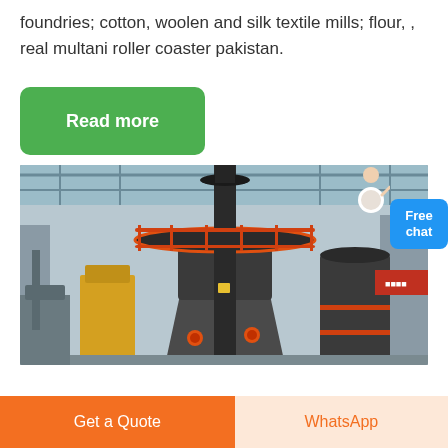foundries; cotton, woolen and silk textile mills; flour, , real multani roller coaster pakistan.
[Figure (other): Green 'Read more' button]
[Figure (photo): Industrial machinery (large vertical mill or roller equipment) inside a factory/warehouse with red railings and structural ceiling]
[Figure (other): Blue 'Free chat' button with person icon]
[Figure (other): Orange 'Get a Quote' button and orange-text 'WhatsApp' button at bottom]